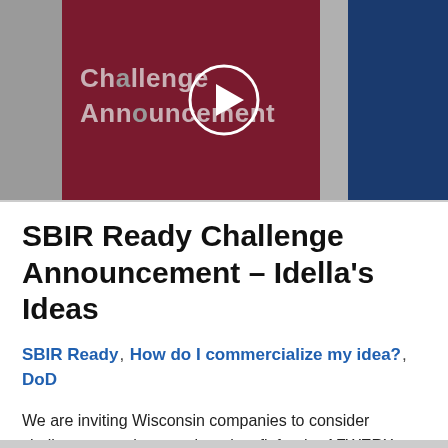[Figure (screenshot): Video thumbnail showing text 'Challenge Announcement' on a dark red background with a blue accent on the right, and a circular play button in the center.]
SBIR Ready Challenge Announcement – Idella's Ideas
SBIR Ready, How do I commercialize my idea?, DoD
We are inviting Wisconsin companies to consider challenge sets that may be a key fit for the AFWERX program. Learn about the needs of the Wisconsin